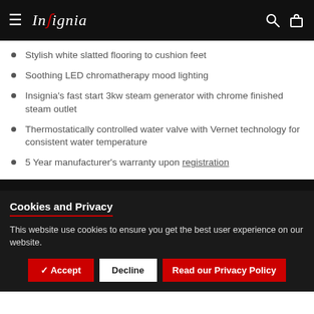Insignia
Stylish white slatted flooring to cushion feet
Soothing LED chromatherapy mood lighting
Insignia's fast start 3kw steam generator with chrome finished steam outlet
Thermostatically controlled water valve with Vernet technology for consistent water temperature
5 Year manufacturer's warranty upon registration
Cookies and Privacy
This website use cookies to ensure you get the best user experience on our website.
✔ Accept | Decline | Read our Privacy Policy